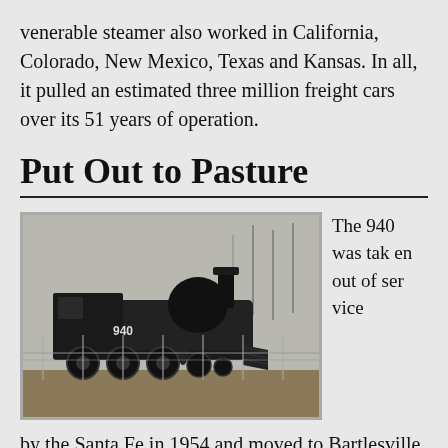venerable steamer also worked in California, Colorado, New Mexico, Texas and Kansas. In all, it pulled an estimated three million freight cars over its 51 years of operation.
Put Out to Pasture
[Figure (photo): Black and white photograph of Santa Fe steam locomotive number 940, shown from the front-left angle, behind a chain-link fence, with bare trees in the background.]
The 940 was taken out of service
by the Santa Fe in 1954 and moved to Bartlesville